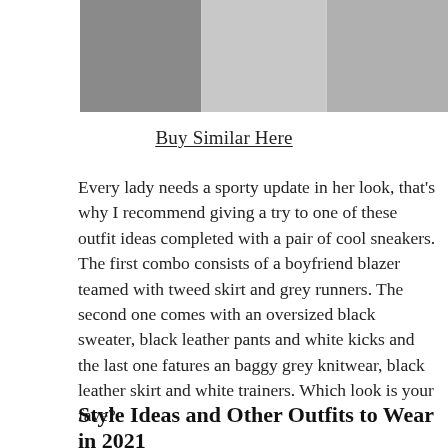[Figure (photo): Three photos of sneakers worn with different outfits: grey New Balance runners, white low-top sneakers, and white sneakers with black socks.]
Buy Similar Here
Every lady needs a sporty update in her look, that's why I recommend giving a try to one of these outfit ideas completed with a pair of cool sneakers. The first combo consists of a boyfriend blazer teamed with tweed skirt and grey runners. The second one comes with an oversized black sweater, black leather pants and white kicks and the last one fatures an baggy grey knitwear, black leather skirt and white trainers. Which look is your fave?
Style Ideas and Other Outfits to Wear in 2021